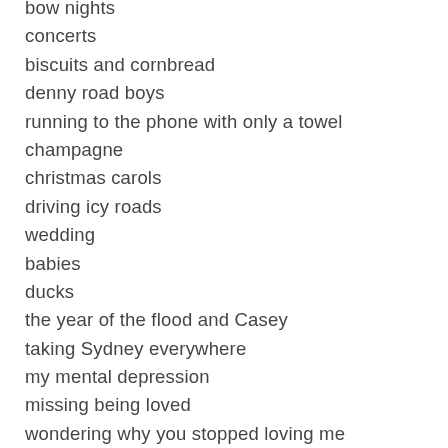bow nights
concerts
biscuits and cornbread
denny road boys
running to the phone with only a towel
champagne
christmas carols
driving icy roads
wedding
babies
ducks
the year of the flood and Casey
taking Sydney everywhere
my mental depression
missing being loved
wondering why you stopped loving me
not being what you wanted or needed
still loving you
building a house